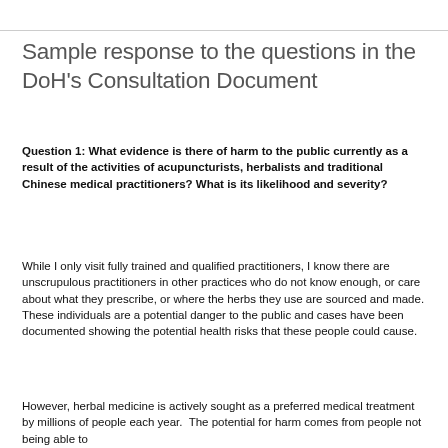Sample response to the questions in the DoH's Consultation Document
Question 1: What evidence is there of harm to the public currently as a result of the activities of acupuncturists, herbalists and traditional Chinese medical practitioners? What is its likelihood and severity?
While I only visit fully trained and qualified practitioners, I know there are unscrupulous practitioners in other practices who do not know enough, or care about what they prescribe, or where the herbs they use are sourced and made. These individuals are a potential danger to the public and cases have been documented showing the potential health risks that these people could cause.
However, herbal medicine is actively sought as a preferred medical treatment by millions of people each year.  The potential for harm comes from people not being able to